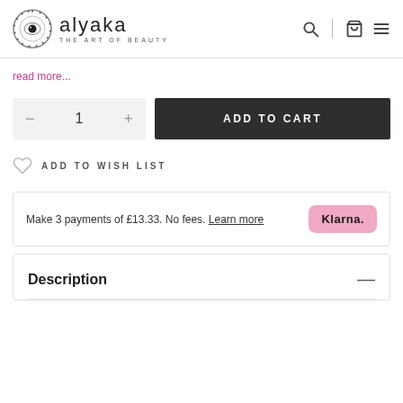alyaka — THE ART OF BEAUTY
read more...
1 ADD TO CART
ADD TO WISH LIST
Make 3 payments of £13.33. No fees. Learn more
Description